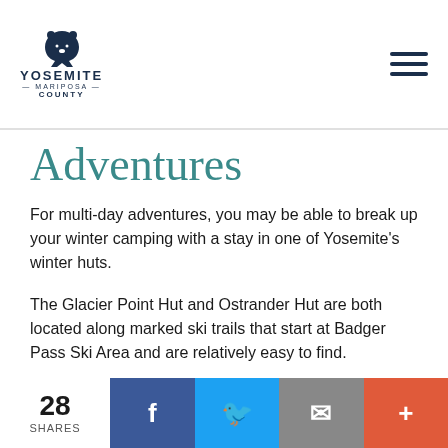Yosemite Mariposa County
Adventures
For multi-day adventures, you may be able to break up your winter camping with a stay in one of Yosemite’s winter huts.
The Glacier Point Hut and Ostrander Hut are both located along marked ski trails that start at Badger Pass Ski Area and are relatively easy to find.
The Snow Creek Cabin, on Yosemite’s north rim below Mt Watkins, is limited to six people per
28 SHARES